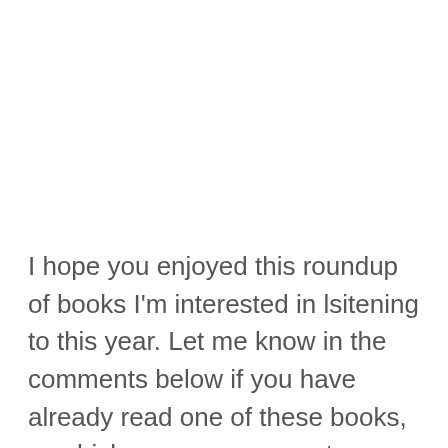I hope you enjoyed this roundup of books I'm interested in lsitening to this year. Let me know in the comments below if you have already read one of these books, or which one you are most interested in!